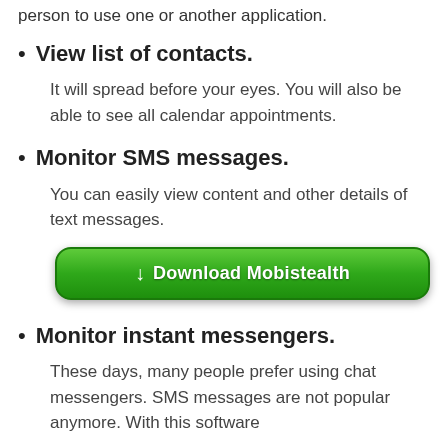person to use one or another application.
View list of contacts.
It will spread before your eyes. You will also be able to see all calendar appointments.
Monitor SMS messages.
You can easily view content and other details of text messages.
[Figure (other): Green download button with download icon and text 'Download Mobistealth']
Monitor instant messengers.
These days, many people prefer using chat messengers. SMS messages are not popular anymore. With this software